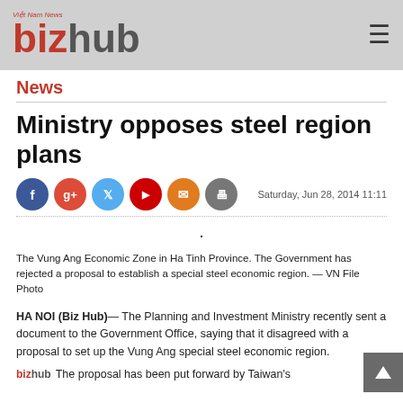Việt Nam News bizhub
News
Ministry opposes steel region plans
Saturday, Jun 28, 2014 11:11
The Vung Ang Economic Zone in Ha Tinh Province. The Government has rejected a proposal to establish a special steel economic region. — VN File Photo
HA NOI (Biz Hub)— The Planning and Investment Ministry recently sent a document to the Government Office, saying that it disagreed with a proposal to set up the Vung Ang special steel economic region.
The proposal has been put forward by Taiwan's